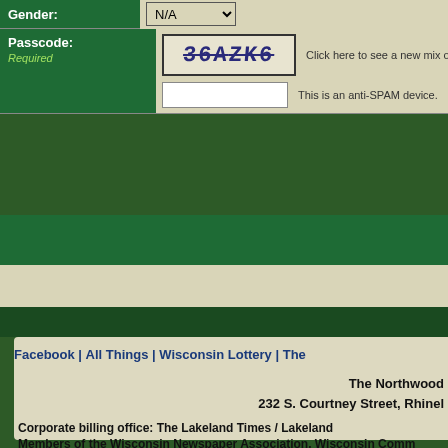Gender: N/A
Passcode: Required
36AZK6
Click here to see a new mix
This is an anti-SPAM device.
Facebook | All Things | Wisconsin Lottery | The
The Northwood
232 S. Courtney Street, Rhinel
Corporate billing office: The Lakeland Times / Lakeland
Members of the Wisconsin Newspaper Association, Wisconsin Comm
Site Desi
Software © 1